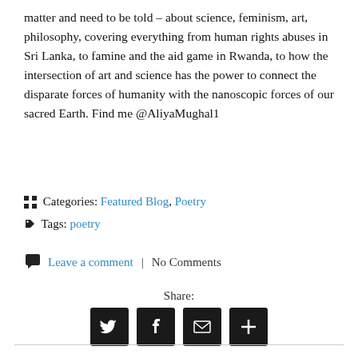matter and need to be told – about science, feminism, art, philosophy, covering everything from human rights abuses in Sri Lanka, to famine and the aid game in Rwanda, to how the intersection of art and science has the power to connect the disparate forces of humanity with the nanoscopic forces of our sacred Earth. Find me @AliyaMughal1
Categories: Featured Blog, Poetry
Tags: poetry
Leave a comment | No Comments
Share: